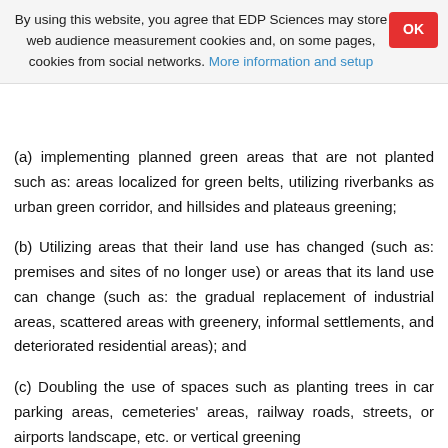By using this website, you agree that EDP Sciences may store web audience measurement cookies and, on some pages, cookies from social networks. More information and setup
(a) implementing planned green areas that are not planted such as: areas localized for green belts, utilizing riverbanks as urban green corridor, and hillsides and plateaus greening;
(b) Utilizing areas that their land use has changed (such as: premises and sites of no longer use) or areas that its land use can change (such as: the gradual replacement of industrial areas, scattered areas with greenery, informal settlements, and deteriorated residential areas); and
(c) Doubling the use of spaces such as planting trees in car parking areas, cemeteries' areas, railway roads, streets, or airports landscape, etc. or vertical greening